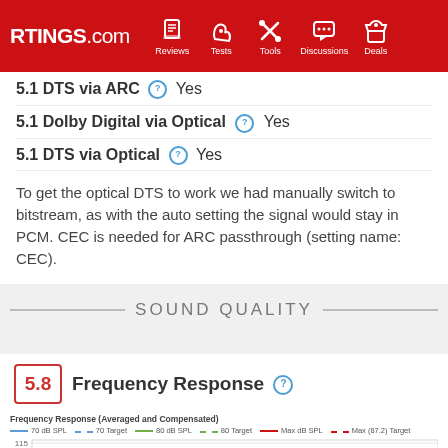RTINGS.com — Reviews, Tests, Tools, Discussions, Deals
5.1 DTS via ARC  Yes
5.1 Dolby Digital via Optical  Yes
5.1 DTS via Optical  Yes
To get the optical DTS to work we had manually switch to bitstream, as with the auto setting the signal would stay in PCM. CEC is needed for ARC passthrough (setting name: CEC).
SOUND QUALITY
5.8  Frequency Response
[Figure (continuous-plot): Frequency Response (Averaged and Compensated) chart with legend showing 70 dB SPL, 70 Target, 80 dB SPL, 80 Target, Max dB SPL, Max (87.2) Target lines. Y-axis shows values 115 and 110.]